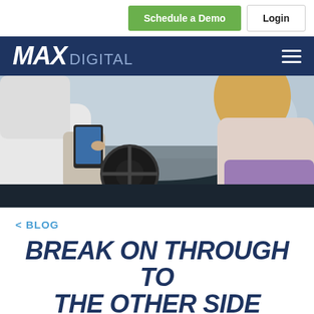Schedule a Demo | Login
[Figure (logo): MAX DIGITAL logo in white and light blue on dark navy background, with hamburger menu icon on the right]
[Figure (photo): Car dealership scene: salesperson showing tablet to female customer in car, viewed from above the car roof]
< BLOG
BREAK ON THROUGH TO THE OTHER SIDE